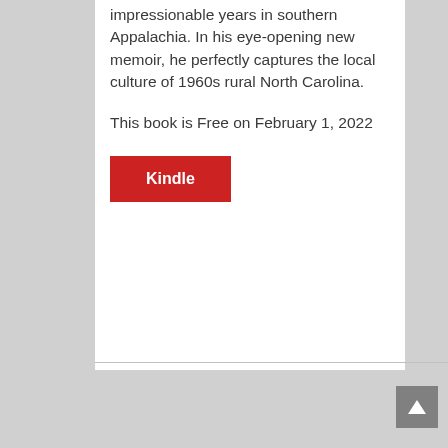impressionable years in southern Appalachia. In his eye-opening new memoir, he perfectly captures the local culture of 1960s rural North Carolina.
This book is Free on February 1, 2022
[Figure (other): Red Kindle button]